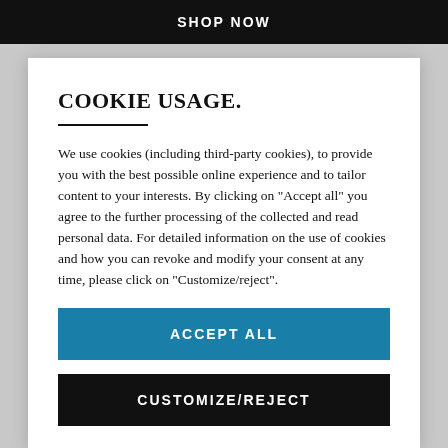SHOP NOW
COOKIE USAGE.
We use cookies (including third-party cookies), to provide you with the best possible online experience and to tailor content to your interests. By clicking on "Accept all" you agree to the further processing of the collected and read personal data. For detailed information on the use of cookies and how you can revoke and modify your consent at any time, please click on "Customize/reject".
ACCEPT ALL
CUSTOMIZE/REJECT